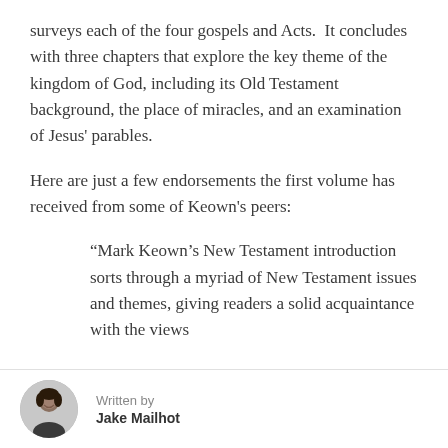surveys each of the four gospels and Acts. It concludes with three chapters that explore the key theme of the kingdom of God, including its Old Testament background, the place of miracles, and an examination of Jesus' parables.
Here are just a few endorsements the first volume has received from some of Keown's peers:
“Mark Keown’s New Testament introduction sorts through a myriad of New Testament issues and themes, giving readers a solid acquaintance with the views
Written by
Jake Mailhot